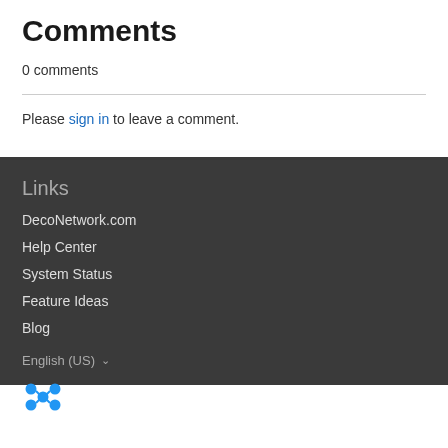Comments
0 comments
Please sign in to leave a comment.
Links
DecoNetwork.com
Help Center
System Status
Feature Ideas
Blog
English (US)
[Figure (logo): DecoNetwork logo with blue molecule icon and white DecoNetwork text with registered trademark symbol]